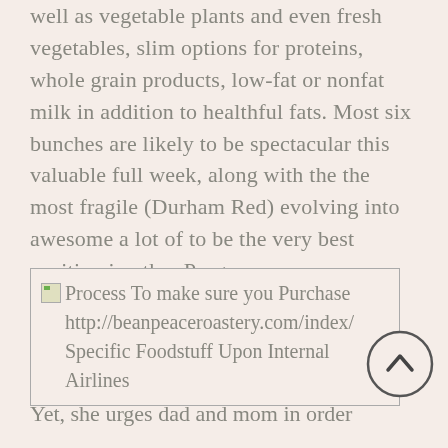well as vegetable plants and even fresh vegetables, slim options for proteins, whole grain products, low-fat or nonfat milk in addition to healthful fats. Most six bunches are likely to be spectacular this valuable full week, along with the the most fragile (Durham Red) evolving into awesome a lot of to be the very best position in other Prog.
[Figure (other): A bordered text box containing broken image icon and text: 'Process To make sure you Purchase http://beanpeaceroastery.com/index/ Specific Foodstuff Upon Internal Airlines', with a circular scroll-to-top button overlapping the right edge.]
Yet, she urges dad and mom in order